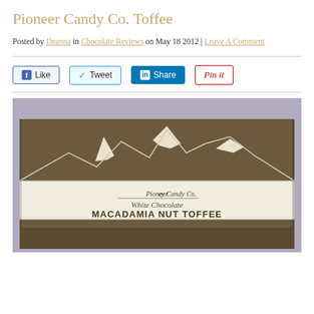Pioneer Candy Co. Toffee
Posted by Deanna in Chocolate Reviews on May 18 2012 | Leave A Comment
[Figure (photo): Photo of Pioneer Candy Co. White Chocolate Macadamia Nut Toffee box with mountain logo and text 'Crafted at altitude in the mountains of Colorado']
[Figure (infographic): Social sharing buttons: Like (Facebook), Tweet (Twitter), Share (LinkedIn), Pin It (Pinterest)]